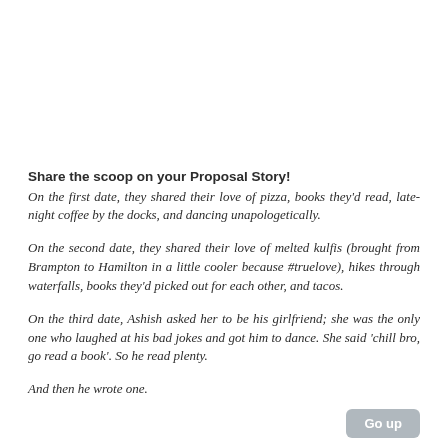Share the scoop on your Proposal Story!
On the first date, they shared their love of pizza, books they'd read, late-night coffee by the docks, and dancing unapologetically.
On the second date, they shared their love of melted kulfis (brought from Brampton to Hamilton in a little cooler because #truelove), hikes through waterfalls, books they'd picked out for each other, and tacos.
On the third date, Ashish asked her to be his girlfriend; she was the only one who laughed at his bad jokes and got him to dance. She said 'chill bro, go read a book'. So he read plenty.
And then he wrote one.